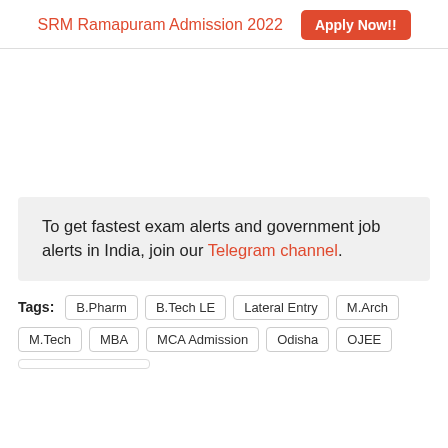SRM Ramapuram Admission 2022  Apply Now!!
[Figure (other): Advertisement area (blank white space)]
To get fastest exam alerts and government job alerts in India, join our Telegram channel.
Tags: B.Pharm  B.Tech LE  Lateral Entry  M.Arch  M.Tech  MBA  MCA Admission  Odisha  OJEE